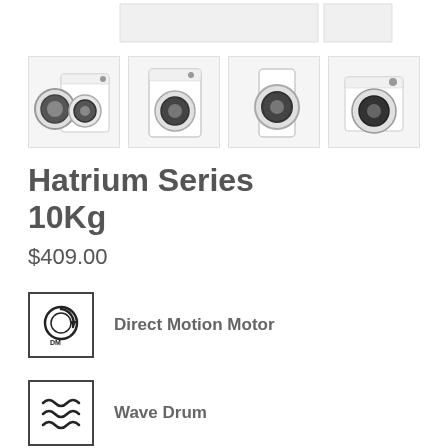[Figure (photo): Top white product panel/banner showing two rectangular white panels side by side]
[Figure (photo): Four thumbnail images of a washing machine from different angles: open door front view, front view closed, side view, and angled front view]
Hatrium Series 10Kg
$409.00
[Figure (logo): Direct Motion Motor icon: circular motor symbol with DM label in a square border]
Direct Motion Motor
[Figure (logo): Wave Drum icon: wavy lines symbol in a square border]
Wave Drum